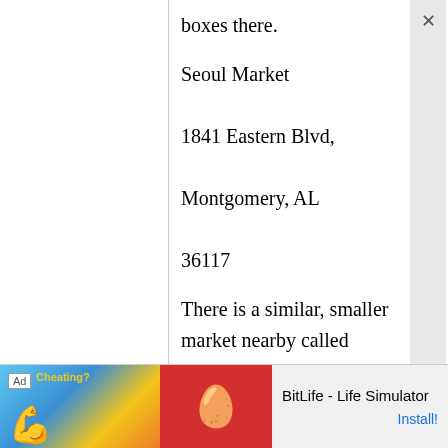boxes there.
Seoul Market

1841 Eastern Blvd,

Montgomery, AL

36117
There is a similar, smaller market nearby called "Hyundai Market." The other place in Alabama I can sometimes get